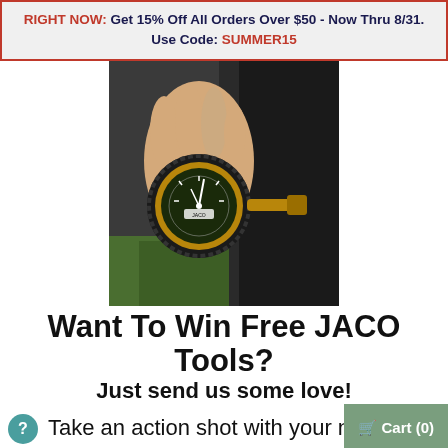RIGHT NOW: Get 15% Off All Orders Over $50 - Now Thru 8/31. Use Code: SUMMER15
[Figure (photo): A hand holding a JACO tire pressure gauge against a car tire valve stem, outdoors on grass]
Want To Win Free JACO Tools?
Just send us some love!
Take an action shot with your ne...
Cart (0)